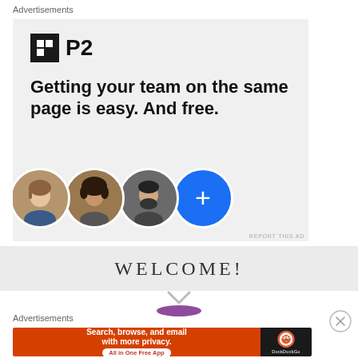Advertisements
[Figure (screenshot): P2 advertisement banner with logo, headline 'Getting your team on the same page is easy. And free.' and three person avatars plus a blue plus button]
REPORT THIS AD
WELCOME!
[Figure (infographic): Downward pointing chevron arrow]
[Figure (screenshot): Purple oval shape partially visible]
Advertisements
[Figure (screenshot): DuckDuckGo advertisement: 'Search, browse, and email with more privacy. All in One Free App' with DuckDuckGo logo on dark right panel]